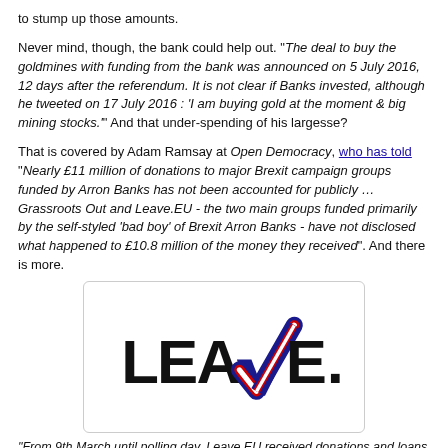to stump up those amounts.
Never mind, though, the bank could help out. “The deal to buy the goldmines with funding from the bank was announced on 5 July 2016, 12 days after the referendum. It is not clear if Banks invested, although he tweeted on 17 July 2016 : ‘I am buying gold at the moment & big mining stocks.’” And that under-spending of his largesse?
That is covered by Adam Ramsay at Open Democracy, who has told “Nearly £11 million of donations to major Brexit campaign groups funded by Arron Banks has not been accounted for publicly … Grassroots Out and Leave.EU - the two main groups funded primarily by the self-styled ‘bad boy’ of Brexit Arron Banks - have not disclosed what happened to £10.8 million of the money they received”. And there is more.
[Figure (logo): Leave.EU logo with Union Jack checkmark replacing the 'V' in LEAVE]
“From 9th March until polling day, Leave.EU received donations and loans